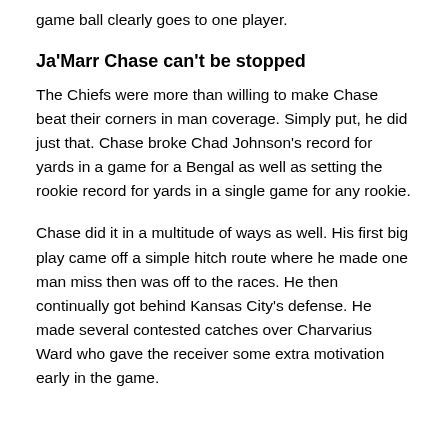game ball clearly goes to one player.
Ja'Marr Chase can't be stopped
The Chiefs were more than willing to make Chase beat their corners in man coverage. Simply put, he did just that. Chase broke Chad Johnson's record for yards in a game for a Bengal as well as setting the rookie record for yards in a single game for any rookie.
Chase did it in a multitude of ways as well. His first big play came off a simple hitch route where he made one man miss then was off to the races. He then continually got behind Kansas City's defense. He made several contested catches over Charvarius Ward who gave the receiver some extra motivation early in the game.